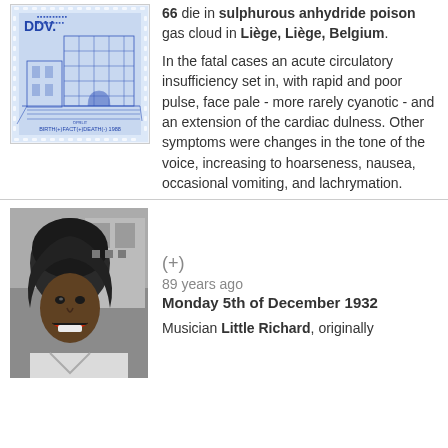[Figure (illustration): Blue-toned postage stamp illustration showing a building/industrial structure labeled DDV, with text BIRTH(+)FACT(+)DEATH(-) 1988 at the bottom]
66 die in sulphurous anhydride poison gas cloud in Liège, Liège, Belgium. In the fatal cases an acute circulatory insufficiency set in, with rapid and poor pulse, face pale - more rarely cyanotic - and an extension of the cardiac dulness. Other symptoms were changes in the tone of the voice, increasing to hoarseness, nausea, occasional vomiting, and lachrymation.
[Figure (photo): Black and white photograph of Little Richard, a musician, smiling/performing]
(+)
89 years ago
Monday 5th of December 1932
Musician Little Richard, originally